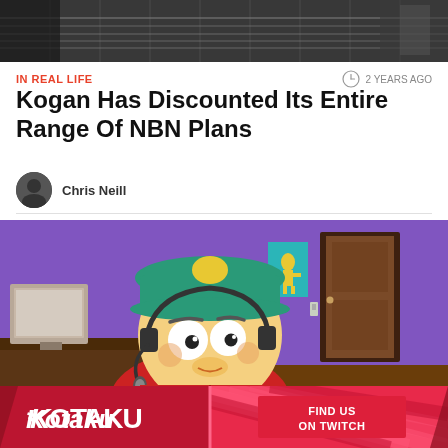[Figure (photo): Top banner image showing dark scene, possibly a music/guitar setting with horizontal stripes]
IN REAL LIFE
2 YEARS AGO
Kogan Has Discounted Its Entire Range Of NBN Plans
Chris Neill
[Figure (screenshot): Screenshot from South Park animated show featuring Cartman character wearing a headset, sitting at a desk in a room with purple walls and a brown door]
[Figure (logo): Kotaku advertisement banner with Kotaku logo on left and 'Find Us On Twitch' button on right, red/pink color scheme with diagonal stripe pattern]